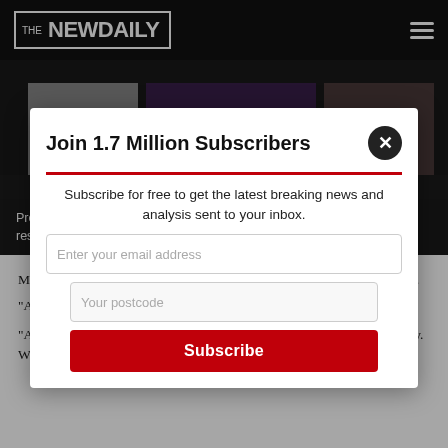THE NEW DAILY
[Figure (photo): Partial photo showing people, dark and purple-toned background]
Premier Andrews said sole traders had to be subject to the same restrictions to minimise transmission. Photo: AAP
Mr Andrews was then asked why having a gardener or pool cleaner in th...
"As I said before, the... aggregate challenge of people moving around the...
"And again, t... ace for the whole time. They v... mmunity. We've...
Join 1.7 Million Subscribers
Subscribe for free to get the latest breaking news and analysis sent to your inbox.
Enter your email address
Your postcode
Subscribe